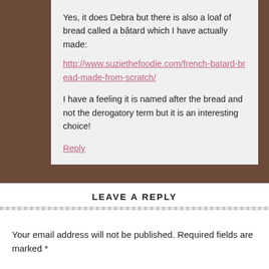Yes, it does Debra but there is also a loaf of bread called a bâtard which I have actually made:
http://www.suziethefoodie.com/french-batard-bread-made-from-scratch/
I have a feeling it is named after the bread and not the derogatory term but it is an interesting choice!
Reply
LEAVE A REPLY
Your email address will not be published. Required fields are marked *